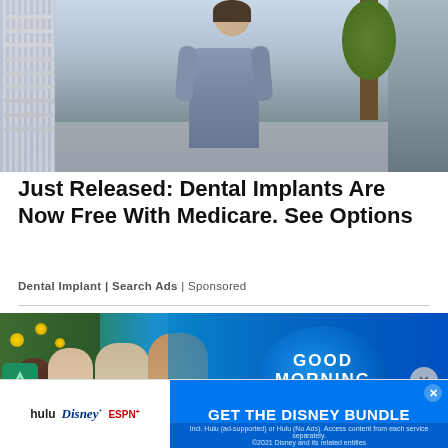[Figure (photo): Woman in grey fitted dress standing on a sidewalk outdoors, smiling at camera, with a fence and trees in the background]
Just Released: Dental Implants Are Now Free With Medicare. See Options
Dental Implant | Search Ads | Sponsored
[Figure (photo): Good Morning America TV show broadcast with hosts visible and the Good Morning America logo circle graphic in the background, Christmas tree visible on left]
[Figure (screenshot): Advertisement banner for Disney Bundle: hulu, Disney+, ESPN+ logos on left with blue background on right showing GET THE DISNEY BUNDLE text and small print about subscription terms]